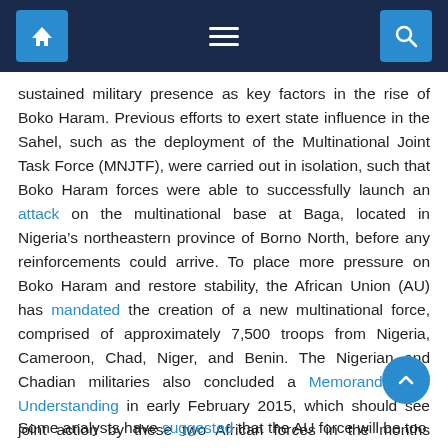[Navigation bar with home, menu, and search icons]
sustained military presence as key factors in the rise of Boko Haram. Previous efforts to exert state influence in the Sahel, such as the deployment of the Multinational Joint Task Force (MNJTF), were carried out in isolation, such that Boko Haram forces were able to successfully launch an attack on the multinational base at Baga, located in Nigeria’s northeastern province of Borno North, before any reinforcements could arrive. To place more pressure on Boko Haram and restore stability, the African Union (AU) has mandated the creation of a new multinational force, comprised of approximately 7,500 troops from Nigeria, Cameroon, Chad, Niger, and Benin. The Nigerian and Chadian militaries also concluded a Memorandum of Understanding in early February 2015, which should see joint action by these two African forces in the months ahead.
Some analysts have suggested that the AU force will be too